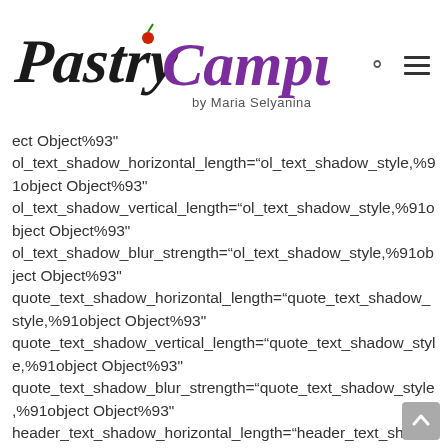Pastry Campus by Maria Selyanina
ect Object%93"
ol_text_shadow_horizontal_length="ol_text_shadow_style,%91object Object%93"
ol_text_shadow_vertical_length="ol_text_shadow_style,%91object Object%93"
ol_text_shadow_blur_strength="ol_text_shadow_style,%91object Object%93"
quote_text_shadow_horizontal_length="quote_text_shadow_style,%91object Object%93"
quote_text_shadow_vertical_length="quote_text_shadow_style,%91object Object%93"
quote_text_shadow_blur_strength="quote_text_shadow_style,%91object Object%93"
header_text_shadow_horizontal_length="header_text_shado